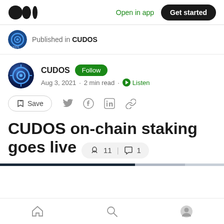Open in app | Get started
Published in CUDOS
CUDOS Follow
Aug 3, 2021 · 2 min read · Listen
Save
CUDOS on-chain staking goes live
Home | Search | Profile